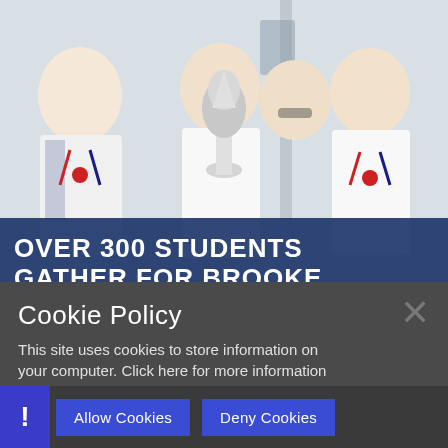[Figure (photo): Four school children in white shirts and ties holding a large silver trophy, with medals around their necks, smiling at the camera in what appears to be a school corridor]
OVER 300 STUDENTS GATHER FOR BROOKE WESTON TRUST...
Cookie Policy
This site uses cookies to store information on your computer. Click here for more information
Allow Cookies   Deny Cookies